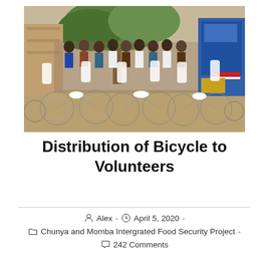[Figure (photo): A large group of people standing around many bicycles wrapped in white plastic/fabric, outdoors near a tree and a blue truck/container. The bicycles appear to be newly delivered and are lined up in rows.]
Distribution of Bicycle to Volunteers
Alex  -  April 5, 2020  -  Chunya and Momba Intergrated Food Security Project  -  242 Comments